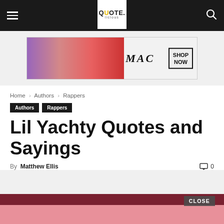QuoteLicious navigation header with hamburger menu and search icon
[Figure (illustration): MAC Cosmetics advertisement banner showing lipsticks in purple, pink, and red shades with 'MAC' logo text and 'SHOP NOW' button]
Home › Authors › Rappers
Authors
Rappers
Lil Yachty Quotes and Sayings
By Matthew Ellis  💬 0
[Figure (photo): Partial photo of Lil Yachty with dark and pink background, partially obscured by CLOSE button overlay]